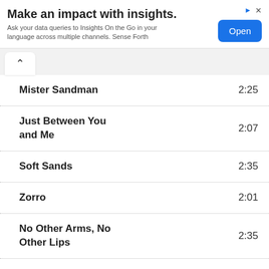[Figure (other): Advertisement banner: 'Make an impact with insights.' with subtitle 'Ask your data queries to Insights On the Go in your language across multiple channels. Sense Forth' and an 'Open' button]
Mister Sandman  2:25
Just Between You and Me  2:07
Soft Sands  2:35
Zorro  2:01
No Other Arms, No Other Lips  2:35
Lay Down Your Arms  2:29
Never on Sunday  2:40